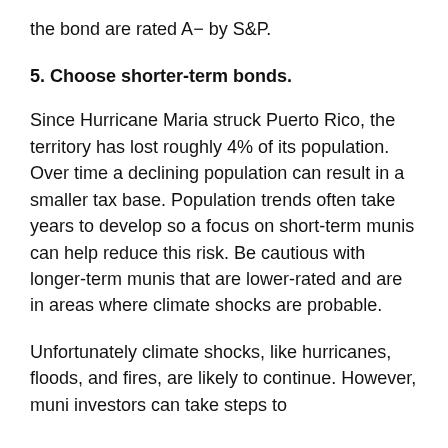the bond are rated A- by S&P.
5. Choose shorter-term bonds.
Since Hurricane Maria struck Puerto Rico, the territory has lost roughly 4% of its population. Over time a declining population can result in a smaller tax base. Population trends often take years to develop so a focus on short-term munis can help reduce this risk. Be cautious with longer-term munis that are lower-rated and are in areas where climate shocks are probable.
Unfortunately climate shocks, like hurricanes, floods, and fires, are likely to continue. However, muni investors can take steps to